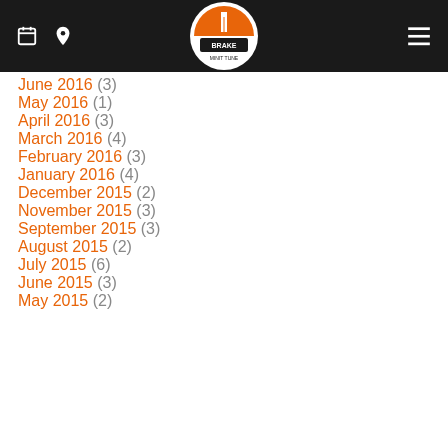Minit-Tune & Brake header with navigation icons and logo
June 2016 (3)
May 2016 (1)
April 2016 (3)
March 2016 (4)
February 2016 (3)
January 2016 (4)
December 2015 (2)
November 2015 (3)
September 2015 (3)
August 2015 (2)
July 2015 (6)
June 2015 (3)
May 2015 (2)